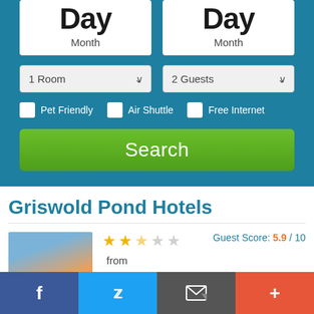[Figure (screenshot): Hotel search form with two date selector boxes (Day/Month), room and guest dropdowns (1 Room, 2 Guests), checkboxes (Pet Friendly, Air Shuttle, Free Internet), and a green Search button. Below is a hotel listing for Griswold Pond Hotels with 2.5 stars, guest score 5.9/10, and a from price. A social media bar at the bottom shows Facebook, Twitter, mail, and plus icons.]
Griswold Pond Hotels
Guest Score: 5.9 / 10
from